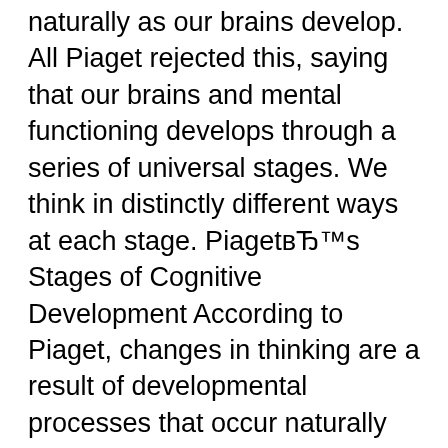naturally as our brains develop. All Piaget rejected this, saying that our brains and mental functioning develops through a series of universal stages. We think in distinctly different ways at each stage. Piaget’s Stages of Cognitive Development According to Piaget, changes in thinking are a result of developmental processes that occur naturally as our brains develop. All
The Cognitive Development Theories of Piaget and Bruner Essay. Abstract. Today’s contemporary theorists, developmental researchers, and educators benefit from the early social learning theories that sought to analyze the thinking and behavioral processes